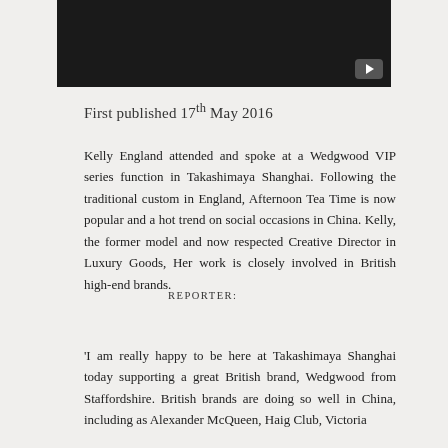[Figure (screenshot): Video player thumbnail showing a private YouTube video with dark background and YouTube play button in bottom right corner]
First published 17th May 2016
REPORTER:
Kelly England attended and spoke at a Wedgwood VIP series function in Takashimaya Shanghai. Following the traditional custom in England, Afternoon Tea Time is now popular and a hot trend on social occasions in China. Kelly, the former model and now respected Creative Director in Luxury Goods, Her work is closely involved in British high-end brands.
KELLY ENGLAND INTERVIEW:
'I am really happy to be here at Takashimaya Shanghai today supporting a great British brand, Wedgwood from Staffordshire. British brands are doing so well in China, including as Alexander McQueen, Haig Club, Victoria